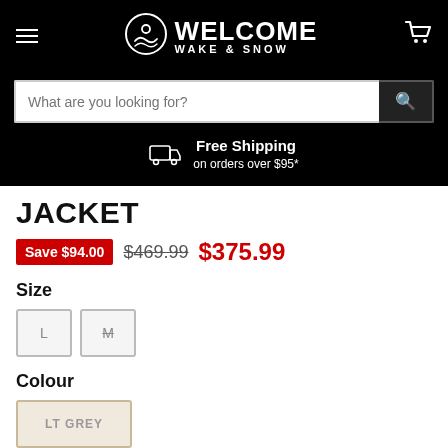WELCOME WAKE & SNOW
What are you looking for?
Free Shipping on orders over $95*
JACKET
Save $94.00  $469.99  $375.99
Size
L  M
Colour
LT GREY
Quantity